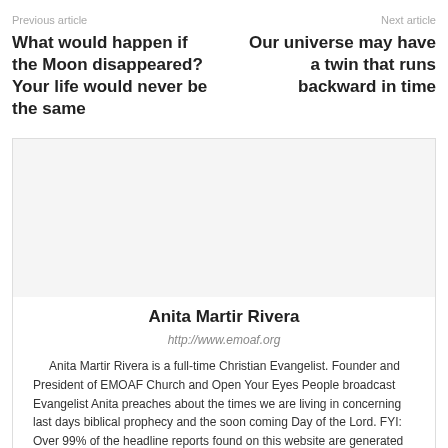Previous article    Next article
What would happen if the Moon disappeared? Your life would never be the same
Our universe may have a twin that runs backward in time
Anita Martir Rivera
http://www.emoaf.org
Anita Martir Rivera is a full-time Christian Evangelist. Founder and President of EMOAF Church and Open Your Eyes People broadcast Evangelist Anita preaches about the times we are living in concerning last days biblical prophecy and the soon coming Day of the Lord. FYI: Over 99% of the headline reports found on this website are generated from sources all across the planet through the world wide web with a